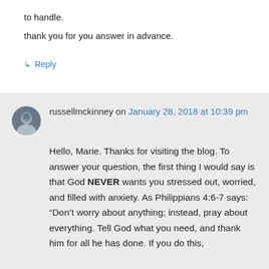to handle.
thank you for you answer in advance.
↳ Reply
russellmckinney on January 28, 2018 at 10:39 pm
Hello, Marie. Thanks for visiting the blog. To answer your question, the first thing I would say is that God NEVER wants you stressed out, worried, and filled with anxiety. As Philippians 4:6-7 says: “Don’t worry about anything; instead, pray about everything. Tell God what you need, and thank him for all he has done. If you do this,